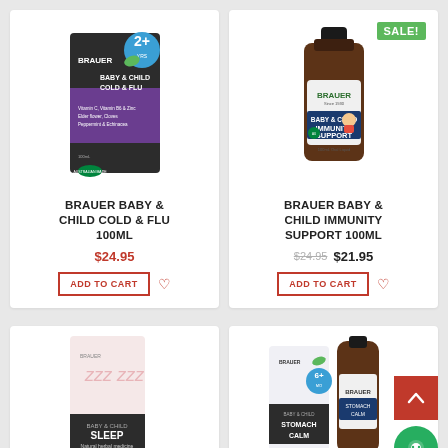[Figure (photo): Brauer Baby & Child Cold & Flu 100ml product box packaging]
BRAUER BABY & CHILD COLD & FLU 100ML
$24.95
ADD TO CART
[Figure (photo): Brauer Baby & Child Immunity Support 100ml dark glass bottle with SALE! badge]
BRAUER BABY & CHILD IMMUNITY SUPPORT 100ML
$24.95 $21.95
ADD TO CART
[Figure (photo): Brauer Baby & Child Sleep product box packaging (partially visible)]
[Figure (photo): Brauer Baby & Child Stomach Calm product bottle (partially visible)]